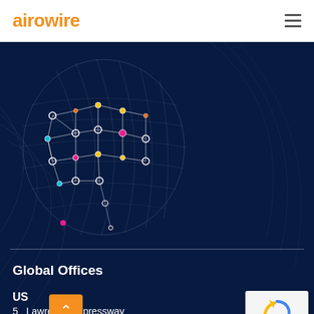airowire
[Figure (illustration): Airowire website screenshot. Top white header with orange 'airowire' logo and hamburger menu. Dark navy blue section below with decorative globe network illustration on left showing interconnected nodes/dots in white, yellow, cyan, pink colors on a dark blue background. Horizontal divider line. 'Global Offices' heading in white. 'US' subheading followed by '5... Lawrence Expressway' and 'Sunnyvale, California' address text. reCAPTCHA badge in bottom right. Orange scroll-to-top button.]
Global Offices
US
5... Lawrence Expressway
Sunnyvale, California